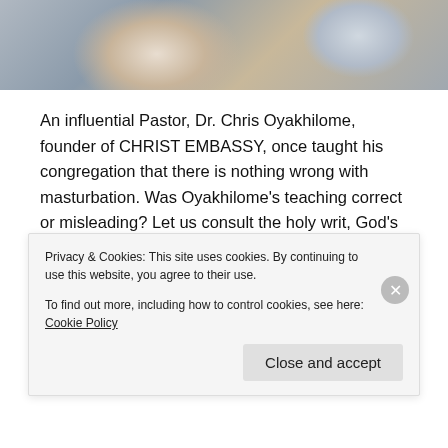[Figure (photo): Partial photo showing hands, possibly clasped, on a dark surface, with light-colored fabric visible. Cropped image at top of page.]
An influential Pastor, Dr. Chris Oyakhilome, founder of CHRIST EMBASSY, once taught his congregation that there is nothing wrong with masturbation. Was Oyakhilome's teaching correct or misleading? Let us consult the holy writ, God's own protocol, to unearth the truth.
Jesus taught in the Book of Matthew 5:28 "But I say unto
Privacy & Cookies: This site uses cookies. By continuing to use this website, you agree to their use.
To find out more, including how to control cookies, see here: Cookie Policy

Close and accept